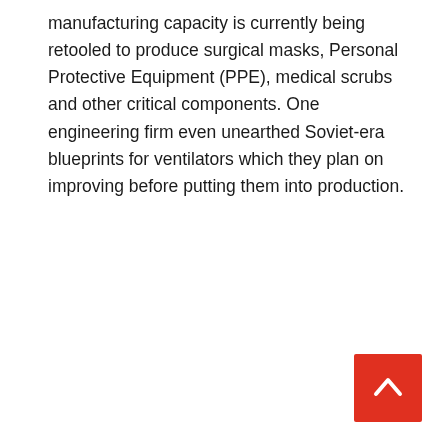manufacturing capacity is currently being retooled to produce surgical masks, Personal Protective Equipment (PPE), medical scrubs and other critical components. One engineering firm even unearthed Soviet-era blueprints for ventilators which they plan on improving before putting them into production.
[Figure (other): Back to top button — red square with white upward chevron/arrow icon]